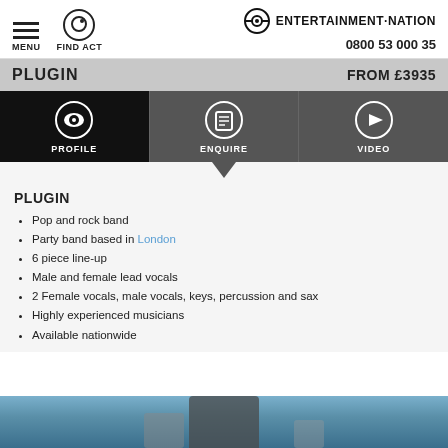MENU  FIND ACT  ENTERTAINMENT·NATION  0800 53 000 35
PLUGIN  FROM £3935
[Figure (screenshot): Navigation tabs: PROFILE (active, black background with eye icon), ENQUIRE (dark grey background with list icon), VIDEO (dark grey background with play icon), with downward triangle arrow below ENQUIRE tab]
PLUGIN
Pop and rock band
Party band based in London
6 piece line-up
Male and female lead vocals
2 Female vocals, male vocals, keys, percussion and sax
Highly experienced musicians
Available nationwide
[Figure (photo): Bottom portion of a photo showing a musician with instrument against a brick wall background, partially visible]